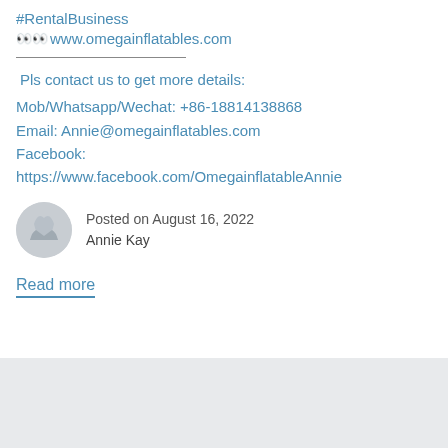#RentalBusiness
👀👀www.omegainflatables.com
Pls contact us to get more details:
Mob/Whatsapp/Wechat: +86-18814138868
Email: Annie@omegainflatables.com
Facebook:
https://www.facebook.com/OmegainfllatableAnnie
Posted on August 16, 2022
Annie Kay
Read more
[Figure (other): Gray placeholder box at the bottom of the page]